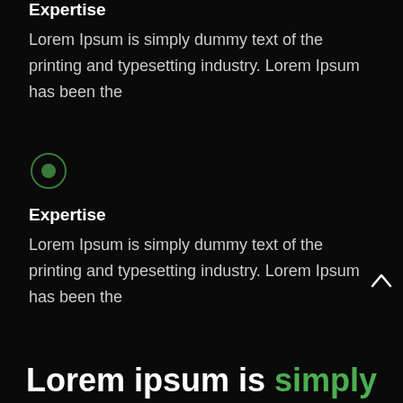Expertise
Lorem Ipsum is simply dummy text of the printing and typesetting industry. Lorem Ipsum has been the
[Figure (other): Green circle target/radio button icon]
Expertise
Lorem Ipsum is simply dummy text of the printing and typesetting industry. Lorem Ipsum has been the
Lorem ipsum is simply